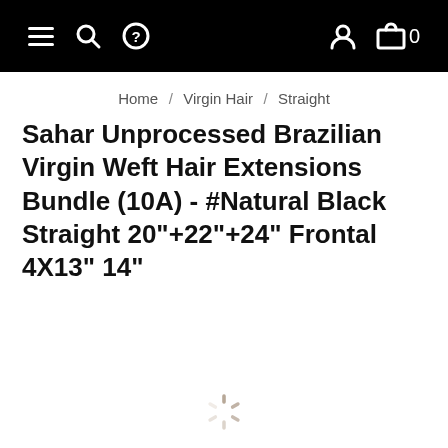Navigation bar with menu, search, help, user, and cart icons
Home / Virgin Hair / Straight
Sahar Unprocessed Brazilian Virgin Weft Hair Extensions Bundle (10A) - #Natural Black Straight 20"+22"+24" Frontal 4X13" 14"
[Figure (other): Loading spinner graphic at bottom center of page]